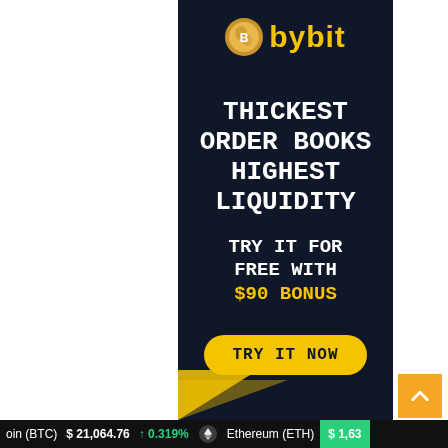[Figure (advertisement): Bybit cryptocurrency exchange advertisement banner with dark navy background. Shows Bybit logo at top, headline 'THICKEST ORDER BOOKS HIGHEST LIQUIDITY', subtext 'TRY IT FOR FREE WITH $90 BONUS' and a 'TRY IT NOW' button.]
oin (BTC)  $21,064.76  ↑ 0.319%  Ethereum (ETH)  $1,63